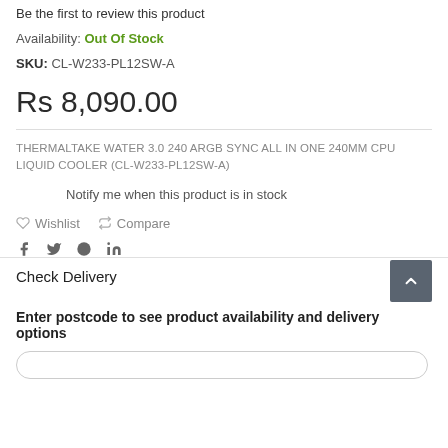Be the first to review this product
Availability: Out Of Stock
SKU: CL-W233-PL12SW-A
Rs 8,090.00
THERMALTAKE WATER 3.0 240 ARGB SYNC ALL IN ONE 240MM CPU LIQUID COOLER (CL-W233-PL12SW-A)
Notify me when this product is in stock
Wishlist   Compare
Check Delivery
Enter postcode to see product availability and delivery options